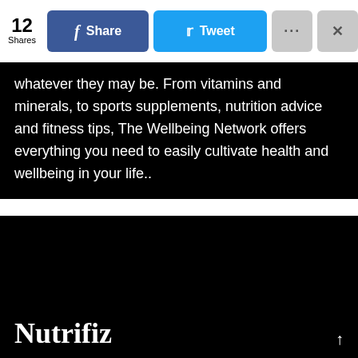[Figure (screenshot): Social media share bar showing 12 Shares count, Facebook Share button (blue), Twitter Tweet button (light blue), a More options button (gray with ellipsis), and a Close button (gray with X)]
whatever they may be. From vitamins and minerals, to sports supplements, nutrition advice and fitness tips, The Wellbeing Network offers everything you need to easily cultivate health and wellbeing in your life..
Nutrifiz